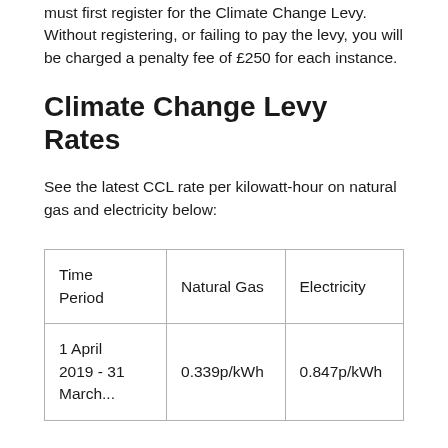must first register for the Climate Change Levy. Without registering, or failing to pay the levy, you will be charged a penalty fee of £250 for each instance.
Climate Change Levy Rates
See the latest CCL rate per kilowatt-hour on natural gas and electricity below:
| Time Period | Natural Gas | Electricity |
| --- | --- | --- |
| 1 April 2019 - 31 March... | 0.339p/kWh | 0.847p/kWh |